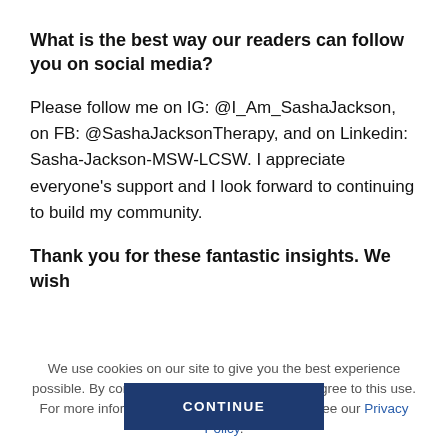What is the best way our readers can follow you on social media?
Please follow me on IG: @I_Am_SashaJackson, on FB: @SashaJacksonTherapy, and on Linkedin: Sasha-Jackson-MSW-LCSW. I appreciate everyone’s support and I look forward to continuing to build my community.
Thank you for these fantastic insights. We wish
We use cookies on our site to give you the best experience possible. By continuing to browse the site, you agree to this use. For more information on how we use cookies, see our Privacy Policy.
CONTINUE